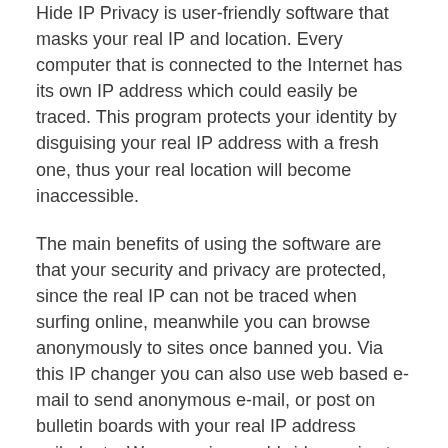Hide IP Privacy is user-friendly software that masks your real IP and location. Every computer that is connected to the Internet has its own IP address which could easily be traced. This program protects your identity by disguising your real IP address with a fresh one, thus your real location will become inaccessible.
The main benefits of using the software are that your security and privacy are protected, since the real IP can not be traced when surfing online, meanwhile you can browse anonymously to sites once banned you. Via this IP changer you can also use web based e-mail to send anonymous e-mail, or post on bulletin boards with your real IP address veiled, etc. We are using worldwide proxies to hide your IP address including but not limited to USA, UK, Israel, Canada, Germany, Japan, Brazil, China, etc. It gives you only the most secure and fastest proxy when using the software.
As the most advanced IP changer, Hide IP Privacy owns outstanding strengths for your best choice based on the above functions, i.e., this program allows users to change IP addresses automatically or in any frequency at their will. With